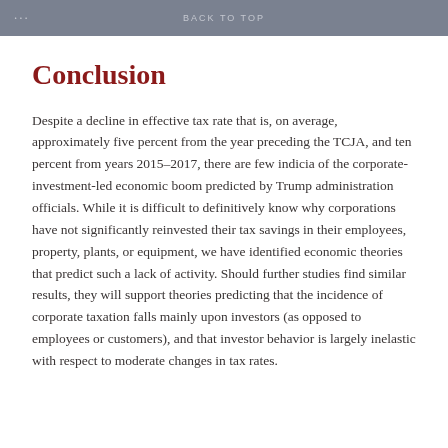... BACK TO TOP
Conclusion
Despite a decline in effective tax rate that is, on average, approximately five percent from the year preceding the TCJA, and ten percent from years 2015–2017, there are few indicia of the corporate-investment-led economic boom predicted by Trump administration officials. While it is difficult to definitively know why corporations have not significantly reinvested their tax savings in their employees, property, plants, or equipment, we have identified economic theories that predict such a lack of activity. Should further studies find similar results, they will support theories predicting that the incidence of corporate taxation falls mainly upon investors (as opposed to employees or customers), and that investor behavior is largely inelastic with respect to moderate changes in tax rates.